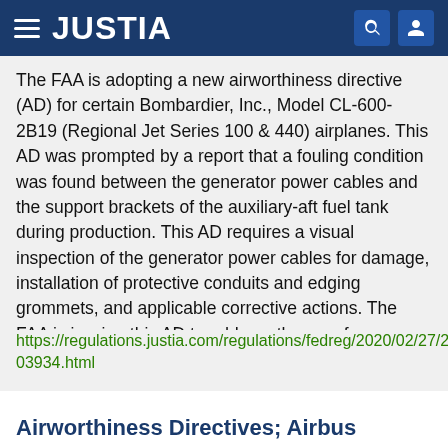[Figure (logo): Justia website header with dark blue background, hamburger menu icon on left, JUSTIA logo text in white, and search and user account icons on right]
The FAA is adopting a new airworthiness directive (AD) for certain Bombardier, Inc., Model CL-600-2B19 (Regional Jet Series 100 & 440) airplanes. This AD was prompted by a report that a fouling condition was found between the generator power cables and the support brackets of the auxiliary-aft fuel tank during production. This AD requires a visual inspection of the generator power cables for damage, installation of protective conduits and edging grommets, and applicable corrective actions. The FAA is issuing this AD to address the unsafe condition on these products.
https://regulations.justia.com/regulations/fedreg/2020/02/27/2020-03934.html
Airworthiness Directives; Airbus Helicopters Deutschland GmbH Helicopters